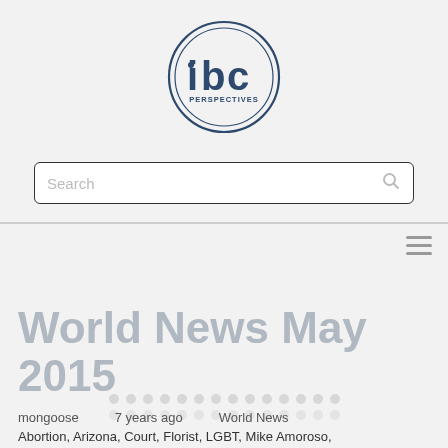[Figure (logo): IBC Perspectives circular logo with stylized 'ibc' letters and 'PERSPECTIVES' text inside a double-ring circle, dark blue color]
Search
World News May 2015
mongoose   7 years ago   World News
Abortion, Arizona, Court, Florist, LGBT, Mike Amoroso,